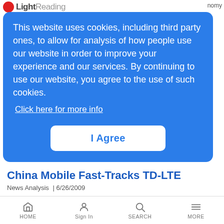Light Reading
This website uses cookies, including third party ones, to allow for analysis of how people use our website in order to improve your experience and our services. By continuing to use our website, you agree to the use of such cookies.
Click here for more info
I Agree
China Mobile Fast-Tracks TD-LTE
News Analysis | 6/26/2009
China Mobile recognizes TD-SCDMA challenges, and looks to trial TD-LTE services as soon as 2010
Nortel Hangs On to Its LTE Smarts
HOME  Sign In  SEARCH  MORE